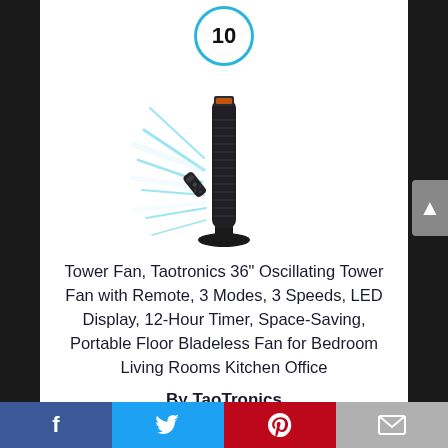[Figure (other): Number 10 badge circle with cyan/blue border on white background]
[Figure (photo): TaoTronics tower fan product photo with blue airflow lines and remote control]
Tower Fan, Taotronics 36” Oscillating Tower Fan with Remote, 3 Modes, 3 Speeds, LED Display, 12-Hour Timer, Space-Saving, Portable Floor Bladeless Fan for Bedroom Living Rooms Kitchen Office
By TaoTronics
View Product
Facebook | Twitter | Pinterest | Email